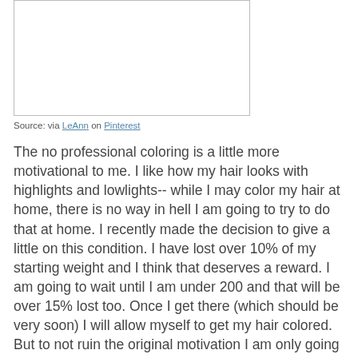[Figure (other): Empty white image placeholder with thin border]
Source: via LeAnn on Pinterest
The no professional coloring is a little more motivational to me. I like how my hair looks with highlights and lowlights-- while I may color my hair at home, there is no way in hell I am going to try to do that at home. I recently made the decision to give a little on this condition. I have lost over 10% of my starting weight and I think that deserves a reward. I am going to wait until I am under 200 and that will be over 15% lost too. Once I get there (which should be very soon) I will allow myself to get my hair colored. But to not ruin the original motivation I am only going to get one all over color. While I try to be a stickler for the rules (even rules I impose on myself) I feel pretty good about giving myself this reward.